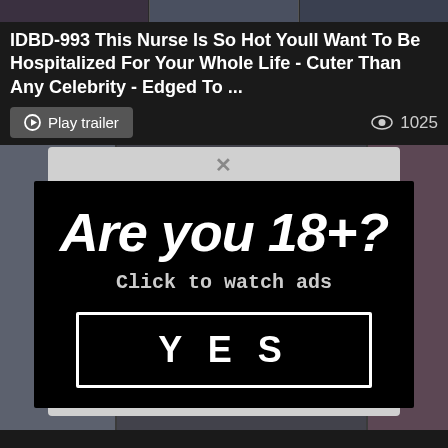[Figure (screenshot): Top banner strip with video thumbnails]
IDBD-993 This Nurse Is So Hot Youll Want To Be Hospitalized For Your Whole Life - Cuter Than Any Celebrity - Edged To ...
Play trailer   1025
[Figure (screenshot): Background content grid of video thumbnails]
×
Are you 18+?
Click to watch ads
YES